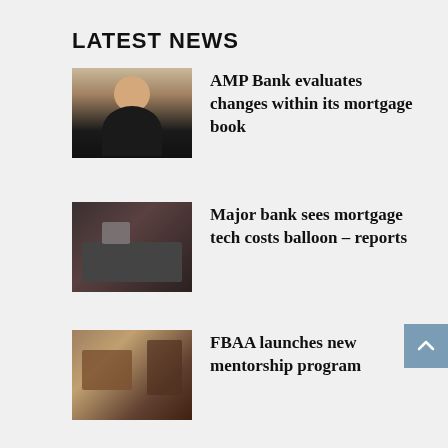LATEST NEWS
[Figure (photo): Portrait photo of a man in a dark suit]
AMP Bank evaluates changes within its mortgage book
[Figure (photo): Laptop with technology/digital icons, person's hand visible]
Major bank sees mortgage tech costs balloon – reports
[Figure (photo): Office meeting scene with people around a table with laptops]
FBAA launches new mentorship program